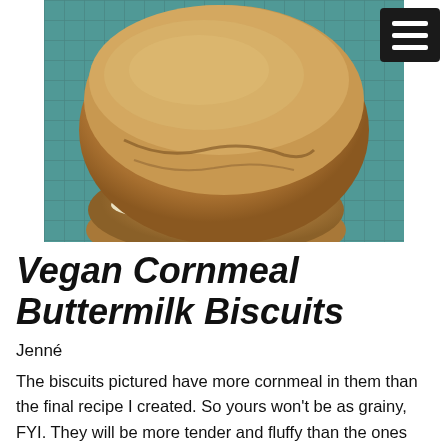[Figure (photo): Close-up photo of vegan cornmeal buttermilk biscuits on a wire rack with a teal patterned cloth underneath, showing the biscuits split open with a creamy filling visible]
Vegan Cornmeal Buttermilk Biscuits
Jenné
The biscuits pictured have more cornmeal in them than the final recipe I created. So yours won't be as grainy, FYI. They will be more tender and fluffy than the ones pictured 🙂 Look for fine ground cornmeal to make these biscuits. Other grinds will work, but I prefer